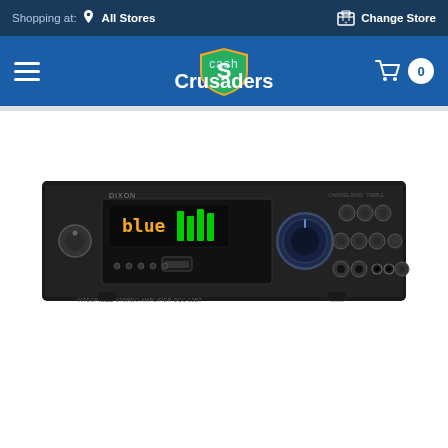Shopping at: All Stores   Change Store
[Figure (logo): Cash Crusaders logo with navigation bar: hamburger menu on left, Cash Crusaders logo in center, cart icon with 0 items on right]
[Figure (photo): Dixon integrated stereo amplifier with Bluetooth, front panel showing display reading 'blue', volume knob, multiple input/output controls, in black finish]